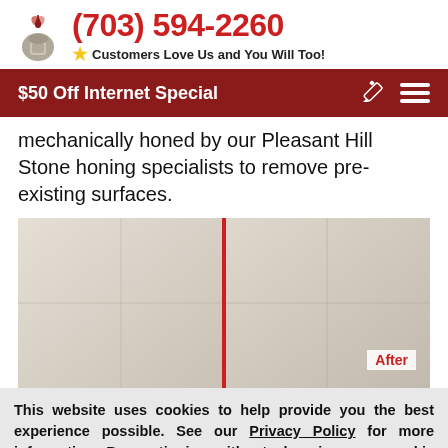(703) 594-2260 — Customers Love Us and You Will Too!
$50 Off Internet Special
mechanically honed by our Pleasant Hill Stone honing specialists to remove pre-existing surfaces.
[Figure (photo): Before and after photo of stone/tile floor honing, split by a red vertical line. Right side labeled 'After' showing brighter, cleaner tile.]
This website uses cookies to help provide you the best experience possible. See our Privacy Policy for more information. By continuing without changing your cookie settings within your browser, you are agreeing to our use of cookies.
ACCEPT